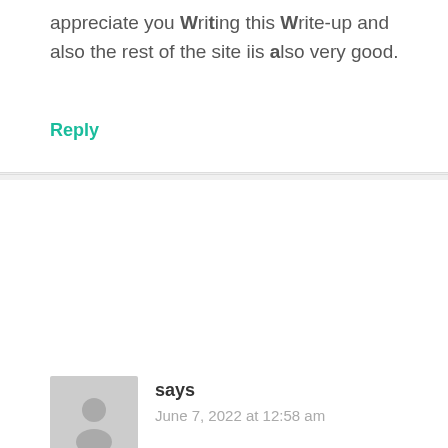appreciate you Writing this Write-up and also the rest of the site iis also very good.
Reply
[Figure (illustration): Gray avatar placeholder icon showing a person silhouette]
says
June 7, 2022 at 12:58 am
Its like you read my mind! You appear to know so much about this, like you wrote the book in it or something. I think that you can do with a few pics to
drive the message home a bit, but instead of that, this is
wonderful blog. A fantastic read. I will
definitely be back